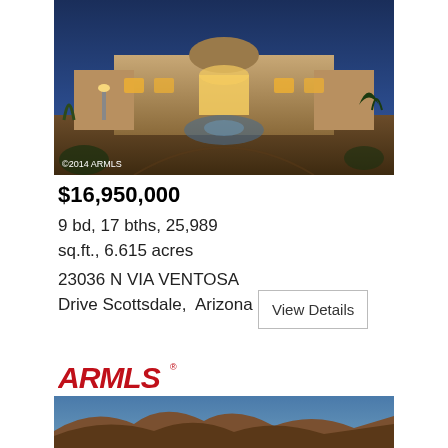[Figure (photo): Luxury estate home exterior at dusk with illuminated arched entry, fountain roundabout, desert landscaping, against blue twilight sky. Watermark: ©2014 ARMLS]
$16,950,000
9 bd, 17 bths, 25,989 sq.ft., 6.615 acres
23036 N VIA VENTOSA Drive Scottsdale, Arizona
View Details
[Figure (logo): ARMLS logo in red bold italic lettering with registered trademark symbol]
Listing courtesy of Russ Lyon Sotheby's International Realty
[Figure (photo): Partial view of desert mountain landscape under blue sky, bottom of page]